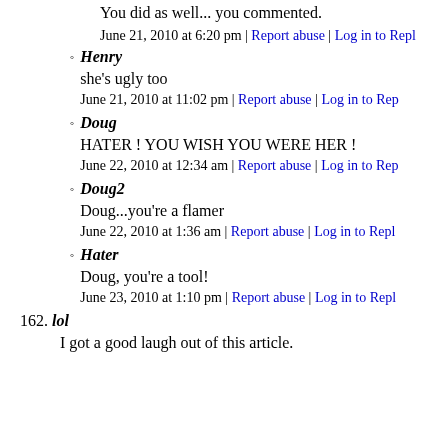You did as well... you commented.
June 21, 2010 at 6:20 pm | Report abuse | Log in to Reply
Henry
she's ugly too
June 21, 2010 at 11:02 pm | Report abuse | Log in to Reply
Doug
HATER ! YOU WISH YOU WERE HER !
June 22, 2010 at 12:34 am | Report abuse | Log in to Reply
Doug2
Doug...you're a flamer
June 22, 2010 at 1:36 am | Report abuse | Log in to Reply
Hater
Doug, you're a tool!
June 23, 2010 at 1:10 pm | Report abuse | Log in to Reply
162. lol
I got a good laugh out of this article.